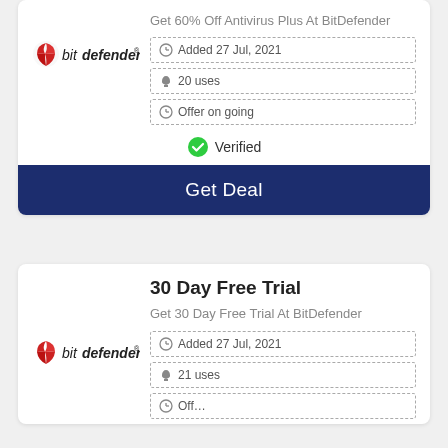Get 60% Off Antivirus Plus At BitDefender
[Figure (logo): BitDefender logo with red flame icon]
Added 27 Jul, 2021
20 uses
Offer on going
Verified
Get Deal
30 Day Free Trial
Get 30 Day Free Trial At BitDefender
[Figure (logo): BitDefender logo with red flame icon]
Added 27 Jul, 2021
21 uses
Offer on going